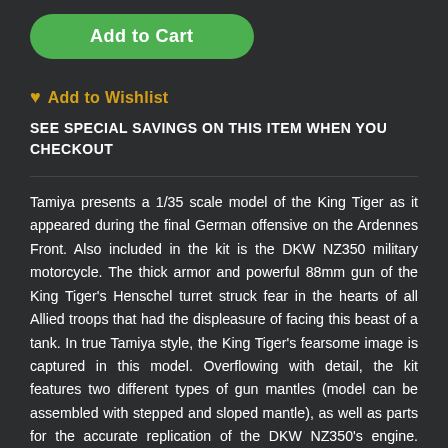Add to Cart
Add to Wishlist
SEE SPECIAL SAVINGS ON THIS ITEM WHEN YOU CHECKOUT
Tamiya presents a 1/35 scale model of the King Tiger as it appeared during the final German offensive on the Ardennes Front. Also included in the kit is the DKW NZ350 military motorcycle. The thick armor and powerful 88mm gun of the King Tiger's Henschel turret struck fear in the hearts of all Allied troops that had the displeasure of facing this beast of a tank. In true Tamiya style, the King Tiger's fearsome image is captured in this model. Overflowing with detail, the kit features two different types of gun mantles (model can be assembled with stepped and sloped mantle), as well as parts for the accurate replication of the DKW NZ350's engine. Small headlight and other features seen on the motorcycle during the final stages of World War II are reproduced. Great